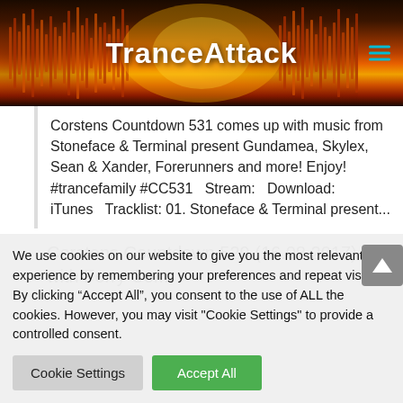[Figure (logo): TranceAttack website header banner with orange/red gradient waveform and white TranceAttack logo text, hamburger menu icon in teal on right]
Corstens Countdown 531 comes up with music from Stoneface & Terminal present Gundamea, Skylex, Sean & Xander, Forerunners and more! Enjoy! #trancefamily #CC531   Stream:   Download: iTunes   Tracklist: 01. Stoneface & Terminal present...
Corstens Countdown 529 (16.08.2017) with Ferry Cor...
We use cookies on our website to give you the most relevant experience by remembering your preferences and repeat visits. By clicking “Accept All”, you consent to the use of ALL the cookies. However, you may visit "Cookie Settings" to provide a controlled consent.